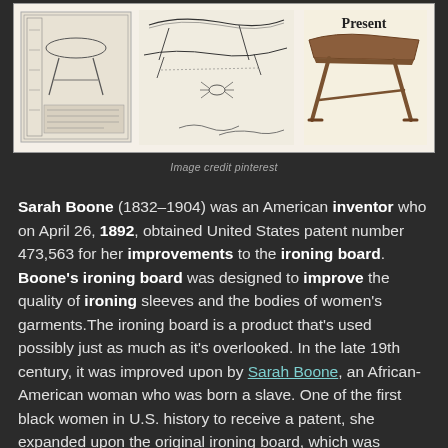[Figure (illustration): Historical illustration of ironing board designs: patent drawing on left, sketches in middle, and a modern wooden ironing board on the right with 'Present' label.]
Image credit pinterest
Sarah Boone (1832–1904) was an American inventor who on April 26, 1892, obtained United States patent number 473,563 for her improvements to the ironing board. Boone's ironing board was designed to improve the quality of ironing sleeves and the bodies of women's garments.The ironing board is a product that's used possibly just as much as it's overlooked. In the late 19th century, it was improved upon by Sarah Boone, an African-American woman who was born a slave. One of the first black women in U.S. history to receive a patent, she expanded upon the original ironing board, which was essentially a horizontal wooden block originally patented in 1858. With Boone's 1892